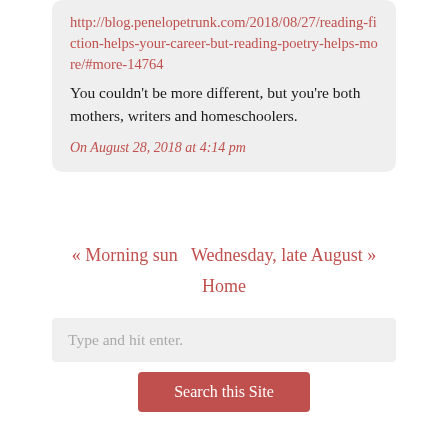http://blog.penelopetrunk.com/2018/08/27/reading-fiction-helps-your-career-but-reading-poetry-helps-more/#more-14764
You couldn't be more different, but you're both mothers, writers and homeschoolers.
On August 28, 2018 at 4:14 pm
« Morning sun   Wednesday, late August »
Home
Type and hit enter.
Search this Site